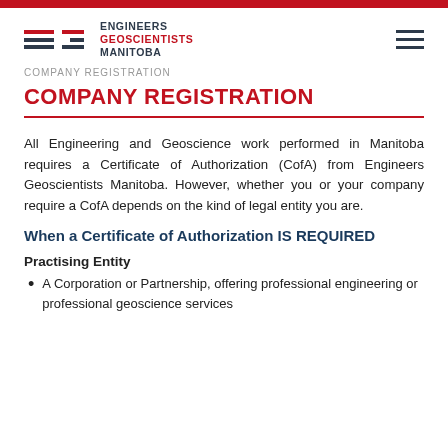Engineers Geoscientists Manitoba
COMPANY REGISTRATION
COMPANY REGISTRATION
All Engineering and Geoscience work performed in Manitoba requires a Certificate of Authorization (CofA) from Engineers Geoscientists Manitoba. However, whether you or your company require a CofA depends on the kind of legal entity you are.
When a Certificate of Authorization IS REQUIRED
Practising Entity
A Corporation or Partnership, offering professional engineering or professional geoscience services